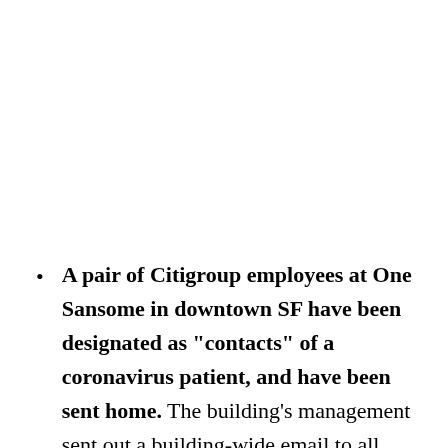A pair of Citigroup employees at One Sansome in downtown SF have been designated as "contacts" of a coronavirus patient, and have been sent home. The building's management sent out a building-wide email to all tenants, though no one